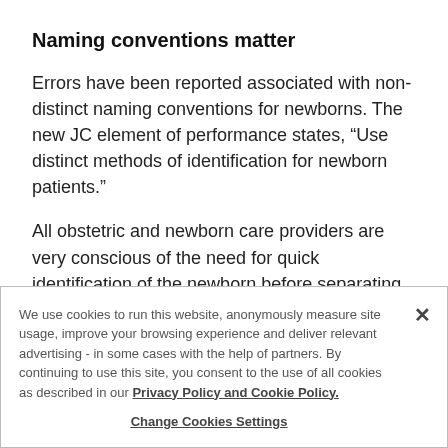Naming conventions matter
Errors have been reported associated with non-distinct naming conventions for newborns. The new JC element of performance states, “Use distinct methods of identification for newborn patients.”
All obstetric and newborn care providers are very conscious of the need for quick identification of the newborn before separating mother and baby to prevent mistakes in not pairing mothers with their
We use cookies to run this website, anonymously measure site usage, improve your browsing experience and deliver relevant advertising - in some cases with the help of partners. By continuing to use this site, you consent to the use of all cookies as described in our Privacy Policy and Cookie Policy.
Change Cookies Settings